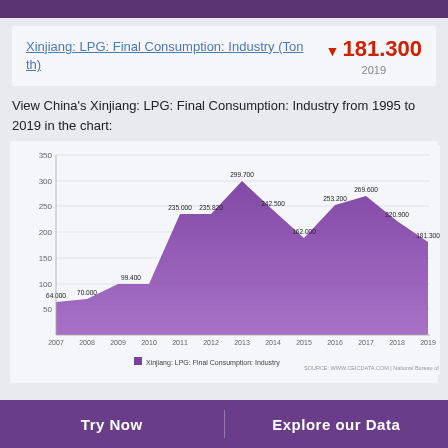Xinjiang: LPG: Final Consumption: Industry (Ton th)
▼ 181.300
2019
View China's Xinjiang: LPG: Final Consumption: Industry from 1995 to 2019 in the chart:
[Figure (area-chart): Xinjiang: LPG: Final Consumption: Industry]
Try Now    Explore our Data